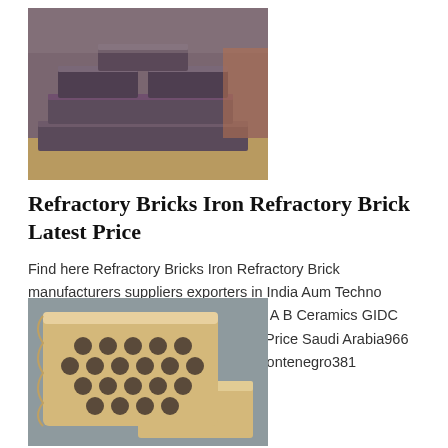[Figure (photo): Stack of dark grey/purple rectangular refractory bricks arranged in layers on what appears to be a wooden pallet outdoors.]
Refractory Bricks Iron Refractory Brick Latest Price
Find here Refractory Bricks Iron Refractory Brick manufacturers suppliers exporters in India Aum Techno Rectangular High Alumina Refractory A B Ceramics GIDC Anand 260/Piece Call Now Get Best Price Saudi Arabia966 Senegal221 Serbia381 Serbia And Montenegro381 Seychelles248 Sierra Leone232
[Figure (photo): Cream/beige coloured refractory brick with multiple circular holes arranged in a honeycomb pattern, shown alongside a rectangular brick, on a grey surface.]